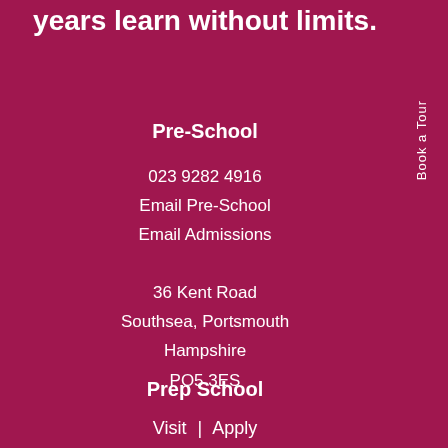years learn without limits.
Pre-School
023 9282 4916
Email Pre-School
Email Admissions
36 Kent Road
Southsea, Portsmouth
Hampshire
PO5 3ES
Book a Tour
Prep School
Visit | Apply